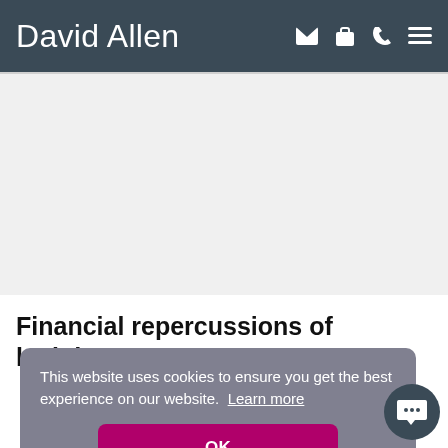David Allen
Financial repercussions of lockdown are
This website uses cookies to ensure you get the best experience on our website. Learn more
OK